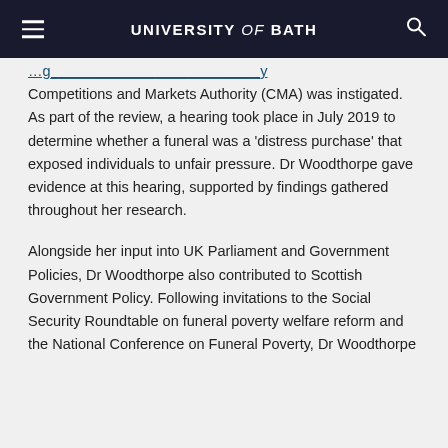UNIVERSITY of BATH
Competitions and Markets Authority (CMA) was instigated. As part of the review, a hearing took place in July 2019 to determine whether a funeral was a ‘distress purchase’ that exposed individuals to unfair pressure. Dr Woodthorpe gave evidence at this hearing, supported by findings gathered throughout her research.
Alongside her input into UK Parliament and Government Policies, Dr Woodthorpe also contributed to Scottish Government Policy. Following invitations to the Social Security Roundtable on funeral poverty welfare reform and the National Conference on Funeral Poverty, Dr Woodthorpe